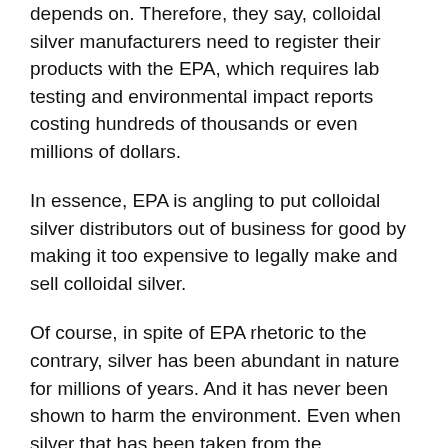depends on. Therefore, they say, colloidal silver manufacturers need to register their products with the EPA, which requires lab testing and environmental impact reports costing hundreds of thousands or even millions of dollars.
In essence, EPA is angling to put colloidal silver distributors out of business for good by making it too expensive to legally make and sell colloidal silver.
Of course, in spite of EPA rhetoric to the contrary, silver has been abundant in nature for millions of years. And it has never been shown to harm the environment. Even when silver that has been taken from the environment and sliced into tiny particles through the process of electrolysis in order to make colloidal silver, and then returned to the environment through sewage systems or other means, it has never been